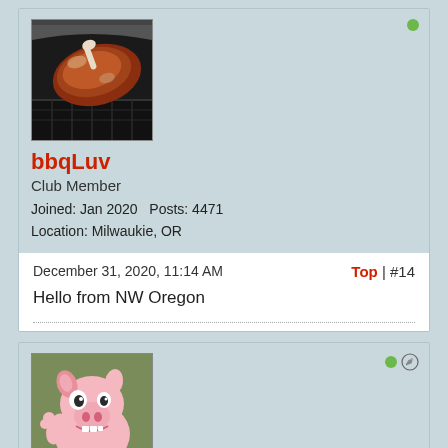[Figure (photo): Avatar photo of bbqLuv showing meat on a grill]
bbqLuv
Club Member
Joined: Jan 2020   Posts: 4471
Location: Milwaukie, OR
December 31, 2020, 11:14 AM
Top | #14
Hello from NW Oregon
[Figure (illustration): Cartoon pig avatar for user ofelles]
ofelles
Club Member